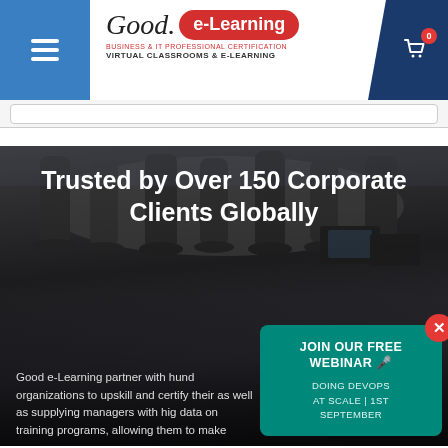[Figure (logo): Good e-Learning logo with red pill-shaped badge and tagline: BUSINESS & IT PROFESSIONAL CERTIFICATION / VIRTUAL CLASSROOMS & E-LEARNING]
[Figure (screenshot): Search bar area below the header navigation]
[Figure (photo): Dark office boardroom with modern chairs, city view in background, hero image section]
Trusted by Over 150 Corporate Clients Globally
Good e-Learning partner with hund organizations to upskill and certify their as well as supplying managers with hig data on training programs, allowing them to make
[Figure (infographic): Teal popup widget: JOIN OUR FREE WEBINAR with microphone icon. DOING DEVOPS AT SCALE | 1ST SEPTEMBER. Red close button top right.]